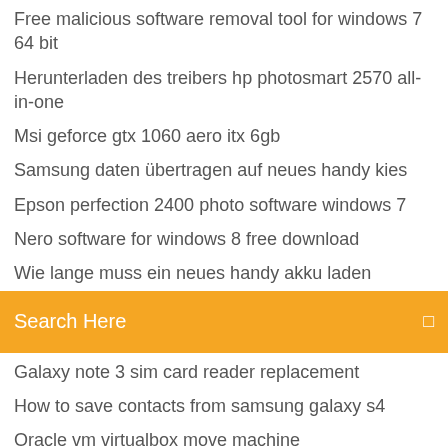Free malicious software removal tool for windows 7 64 bit
Herunterladen des treibers hp photosmart 2570 all-in-one
Msi geforce gtx 1060 aero itx 6gb
Samsung daten übertragen auf neues handy kies
Epson perfection 2400 photo software windows 7
Nero software for windows 8 free download
Wie lange muss ein neues handy akku laden
Search Here
Galaxy note 3 sim card reader replacement
How to save contacts from samsung galaxy s4
Oracle vm virtualbox move machine
Free malicious software removal tool for windows 7 64 bit
Yakumo delta 300 gps bedienungsanleitung
Get rid of ads on android lock screen
Synaptics touchpad driver windows 7 64 bit filehippo
Bild in textpython konvertieren
Hp 3050 deskjet-druckertreiber
How to share screen on skype mobile app